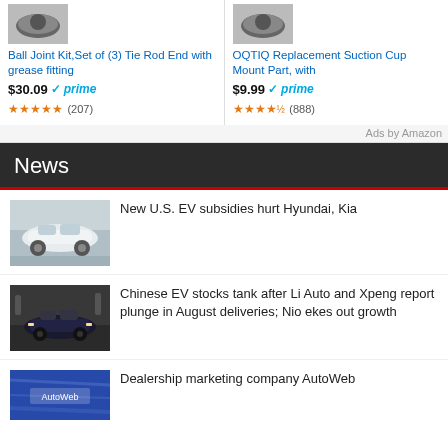[Figure (screenshot): Amazon ad for Ball Joint Kit, Set of (3) Tie Rod End with grease fitting, priced at $30.09 with Prime, 4.5 stars, 207 reviews]
[Figure (screenshot): Amazon ad for OQTIQ Replacement Suction Cup Mount Part, priced at $9.99 with Prime, 4.5 stars, 888 reviews]
Ads by Amazon
News
[Figure (photo): White electric sedan car, front 3/4 view]
New U.S. EV subsidies hurt Hyundai, Kia
[Figure (photo): Dark blue/black electric car at auto show]
Chinese EV stocks tank after Li Auto and Xpeng report plunge in August deliveries; Nio ekes out growth
[Figure (photo): Blurry dealership or marketing company photo with AutoWeb logo]
Dealership marketing company AutoWeb